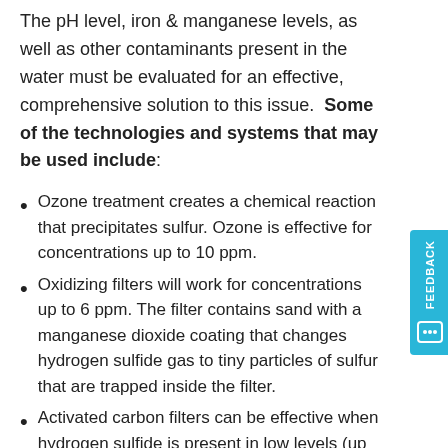The pH level, iron & manganese levels, as well as other contaminants present in the water must be evaluated for an effective, comprehensive solution to this issue.  Some of the technologies and systems that may be used include:
Ozone treatment creates a chemical reaction that precipitates sulfur. Ozone is effective for concentrations up to 10 ppm.
Oxidizing filters will work for concentrations up to 6 ppm. The filter contains sand with a manganese dioxide coating that changes hydrogen sulfide gas to tiny particles of sulfur that are trapped inside the filter.
Activated carbon filters can be effective when hydrogen sulfide is present in low levels (up to about 0.3 ppm). The hydrogen...